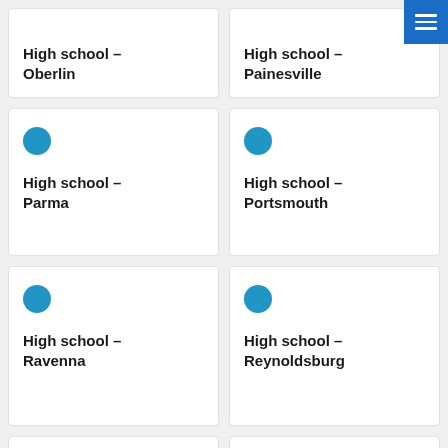High school – Oberlin
High school – Painesville
High school – Parma
High school – Portsmouth
High school – Ravenna
High school – Reynoldsburg